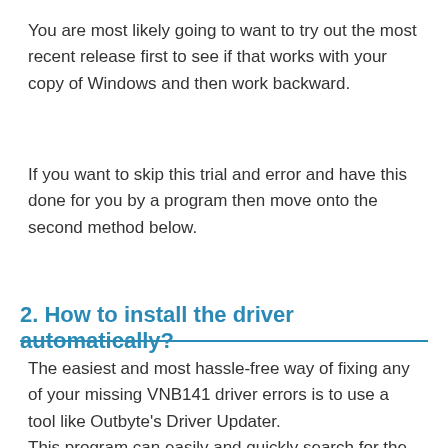You are most likely going to want to try out the most recent release first to see if that works with your copy of Windows and then work backward.
If you want to skip this trial and error and have this done for you by a program then move onto the second method below.
2. How to install the driver automatically?
The easiest and most hassle-free way of fixing any of your missing VNB141 driver errors is to use a tool like Outbyte's Driver Updater.
This program can easily and quickly search for the